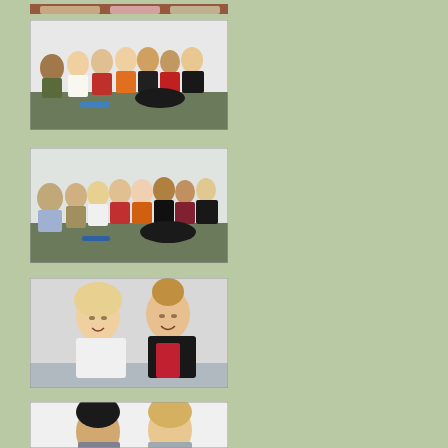[Figure (photo): Group photo of students/people sitting on floor against a wall, partial view at top of page]
[Figure (photo): Group photo of approximately 8 people sitting on the floor against a light-colored wall in an office or school setting]
[Figure (photo): Group photo of approximately 8-9 people sitting on the floor against a light-colored wall, similar setting to above]
[Figure (photo): Portrait photo of two young women smiling, one wearing white and one wearing red blouse with black jacket]
[Figure (photo): Portrait photo of two women, one with dark hair and one with lighter hair, against a white wall]